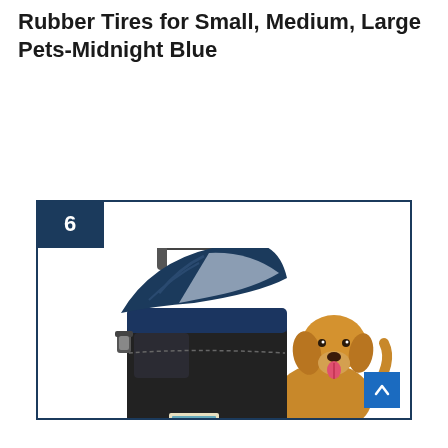Rubber Tires for Small, Medium, Large Pets-Midnight Blue
[Figure (photo): Product listing card showing a midnight blue pet stroller with rubber tires next to a golden retriever dog. The stroller has a canopy, mesh window, cup holder, storage basket, and four rubber wheels. Number badge '6' in dark navy square top-left of card. Blue scroll-to-top button bottom-right.]